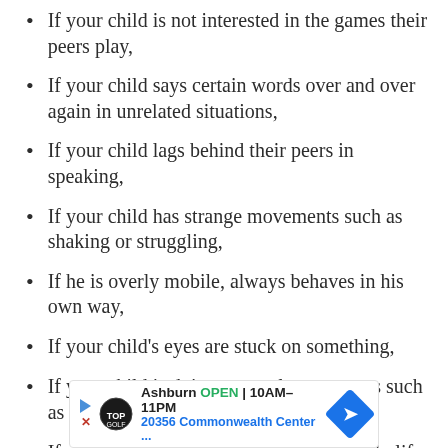If your child is not interested in the games their peers play,
If your child says certain words over and over again in unrelated situations,
If your child lags behind their peers in speaking,
If your child has strange movements such as shaking or struggling,
If he is overly mobile, always behaves in his own way,
If your child's eyes are stuck on something,
If your child is doing unusual movements such as turning or lining up some items,
If your child overreacts to changes in daily life,
[Figure (other): Advertisement banner for Topgolf Ashburn showing OPEN 10AM-11PM and address 20356 Commonwealth Center...]